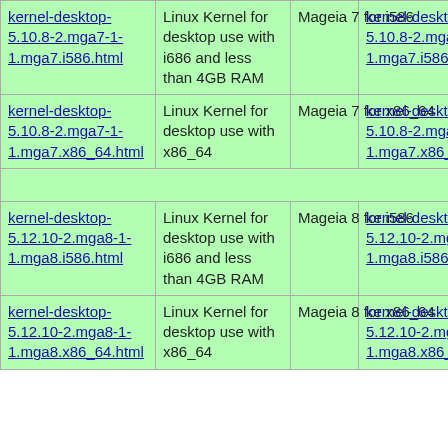| Package | Description | Distro | RPM |
| --- | --- | --- | --- |
| kernel-desktop-5.10.8-2.mga7-1-1.mga7.i586.html | Linux Kernel for desktop use with i686 and less than 4GB RAM | Mageia 7 for i586 | kernel-desktop-5.10.8-2.mga7-1-1.mga7.i586.rpm |
| kernel-desktop-5.10.8-2.mga7-1-1.mga7.x86_64.html | Linux Kernel for desktop use with x86_64 | Mageia 7 for x86_64 | kernel-desktop-5.10.8-2.mga7-1-1.mga7.x86_64.rpm |
| kernel-desktop-5.12.10-2.mga8-1-1.mga8.i586.html | Linux Kernel for desktop use with i686 and less than 4GB RAM | Mageia 8 for i586 | kernel-desktop-5.12.10-2.mga8-1-1.mga8.i586.rpm |
| kernel-desktop-5.12.10-2.mga8-1-1.mga8.x86_64.html | Linux Kernel for desktop use with x86_64 | Mageia 8 for x86_64 | kernel-desktop-5.12.10-2.mga8-1-1.mga8.x86_64.rpm |